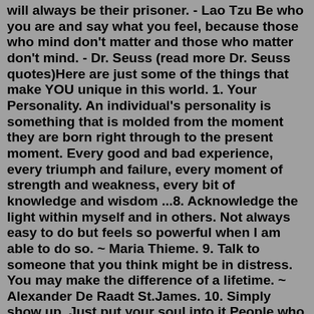will always be their prisoner. - Lao Tzu Be who you are and say what you feel, because those who mind don't matter and those who matter don't mind. - Dr. Seuss (read more Dr. Seuss quotes)Here are just some of the things that make YOU unique in this world. 1. Your Personality. An individual's personality is something that is molded from the moment they are born right through to the present moment. Every good and bad experience, every triumph and failure, every moment of strength and weakness, every bit of knowledge and wisdom ...8. Acknowledge the light within myself and in others. Not always easy to do but feels so powerful when I am able to do so. ~ Maria Thieme. 9. Talk to someone that you think might be in distress. You may make the difference of a lifetime. ~ Alexander De Raadt St.James. 10. Simply show up. Just put your soul into it.People who make fun of others all the time for no reason do lack a personality trait called “dignity”. You have to understand that, the one who is making fun of you all the time is